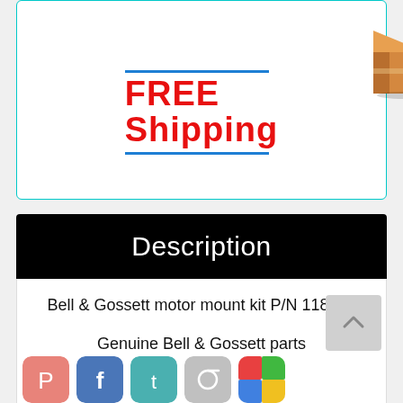[Figure (illustration): Free Shipping graphic with red bold text 'FREE Shipping' and a brown cardboard box icon, with blue underline]
Description
Bell & Gossett motor mount kit P/N 118848
Genuine Bell & Gossett parts
Shipping rate for continental United States
[Figure (illustration): Row of social media sharing icons: Pinterest (pink/red), Facebook (blue), Twitter (teal), camera/link icon (gray), and a colorful icon (partially visible)]